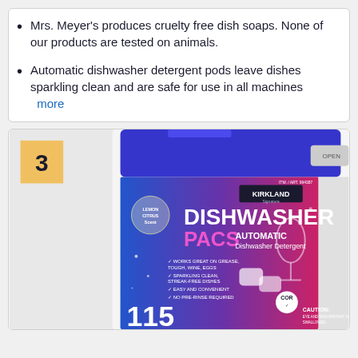Mrs. Meyer's produces cruelty free dish soaps. None of our products are tested on animals.
Automatic dishwasher detergent pods leave dishes sparkling clean and are safe for use in all machines  more
[Figure (photo): Kirkland Signature Dishwasher PACS Automatic Dishwasher Detergent container with blue lid, showing item number 994387, lemon citrus scent, 115 count, with COR certification, in a large white tub with blue/purple label.]